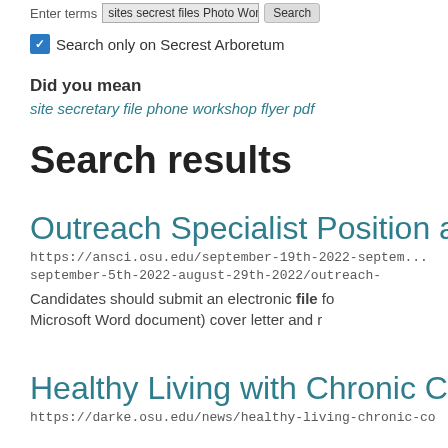Enter terms  sites secrest files Photo Work  Search
Search only on Secrest Arboretum
Did you mean
site secretary file phone workshop flyer pdf
Search results
Outreach Specialist Position at CDCE
https://ansci.osu.edu/september-19th-2022-september-5th-2022-august-29th-2022/outreach-
Candidates should submit an electronic file fo Microsoft Word document) cover letter and r
Healthy Living with Chronic Conditi
https://darke.osu.edu/news/healthy-living-chronic-co